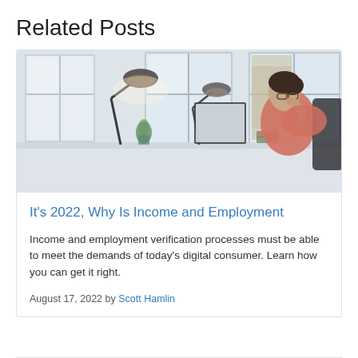Related Posts
[Figure (photo): Man in pink/salmon shirt sitting at a desk in a bright office, viewed from the side, with a desk lamp and monitor in front of large windows showing a city building outside.]
It’s 2022, Why Is Income and Employment
Income and employment verification processes must be able to meet the demands of today's digital consumer. Learn how you can get it right.
August 17, 2022 by Scott Hamlin